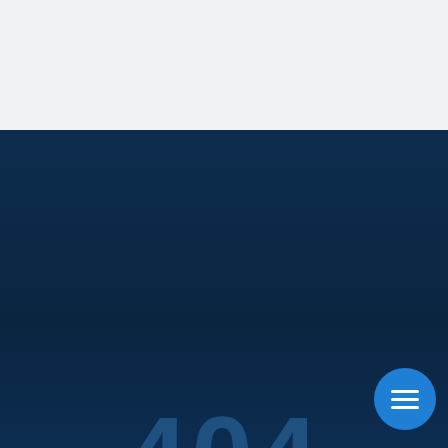[Figure (screenshot): Top light gray section of a 404 error page]
404
Sorry, we looked all over but couldn't find the page you
[Figure (infographic): Blue circular menu/hamburger button with three white horizontal lines]